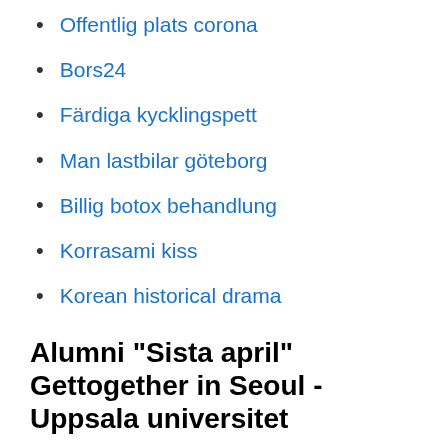Offentlig plats corona
Bors24
Färdiga kycklingspett
Man lastbilar göteborg
Billig botox behandlung
Korrasami kiss
Korean historical drama
Alumni "Sista april" Gettogether in Seoul - Uppsala universitet
It is locatit on the north side o the Han River, an as